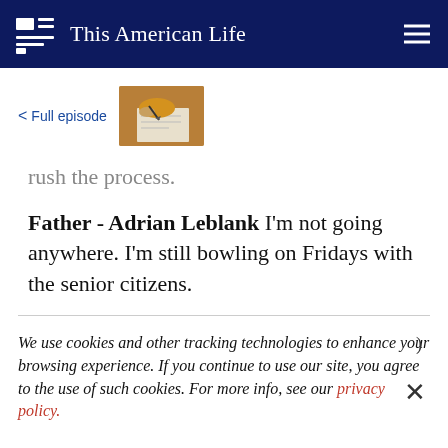This American Life
< Full episode
rush the process.
Father - Adrian Leblank I'm not going anywhere. I'm still bowling on Fridays with the senior citizens.
We use cookies and other tracking technologies to enhance your browsing experience. If you continue to use our site, you agree to the use of such cookies. For more info, see our privacy policy.